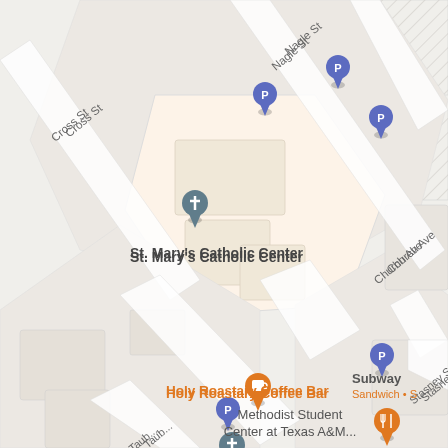[Figure (map): Google Maps screenshot showing street map of College Station area near Texas A&M. Key landmarks include St. Mary's Catholic Center, Holy Roastary Coffee Bar, Methodist Student Center at Texas A&M, and multiple parking (P) markers. Streets shown include Nagle St, Cross St, Church Ave, Stasney St, and Tauber St. One food marker shows Subway Sandwich.]